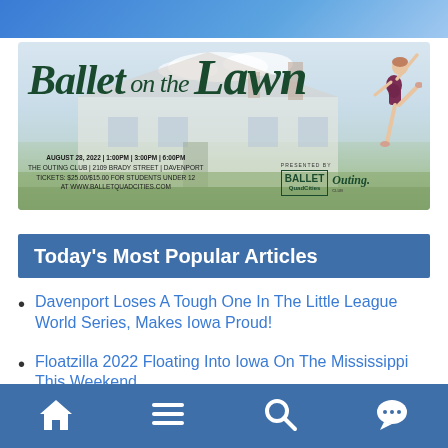[Figure (illustration): Top blue gradient banner strip]
[Figure (illustration): Ballet on the Lawn event advertisement banner. Features script text 'Ballet on the Lawn', a ballet dancer figure, a house background, and event details: August 28, 2022 | 1:00PM | 3:00PM | 6:00PM, The Outing Club | 2109 Brady Street | Davenport, Tickets: $25.00/$15.00 for students under 12, at www.balletquadcities.com. Presented by Ballet QuadCities and The Outing Club.]
Today's Most Popular Articles
Davenport Loses A Tough One In The Little League World Series, Makes Iowa Proud!
Floatzilla 2022 Floating Into Iowa On The Mississippi This Weekend
[Figure (other): Bottom navigation bar with home, menu, search, and chat icons]